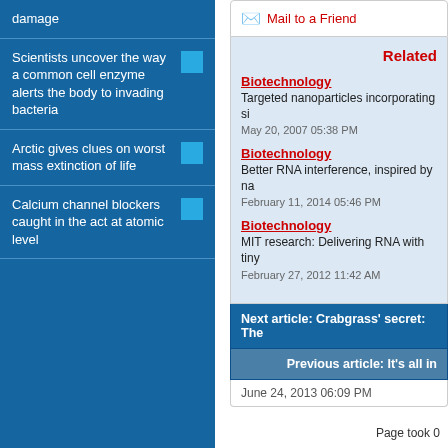damage
Scientists uncover the way a common cell enzyme alerts the body to invading bacteria
Arctic gives clues on worst mass extinction of life
Calcium channel blockers caught in the act at atomic level
Mail to a Friend
Related
Biotechnology
Targeted nanoparticles incorporating si
May 20, 2007 05:38 PM
Biotechnology
Better RNA interference, inspired by na
February 11, 2014 05:46 PM
Biotechnology
MIT research: Delivering RNA with tiny
February 27, 2012 11:42 AM
Next article: Crabgrass' secret: The
Previous article: It's all in
June 24, 2013 06:09 PM
Page took 0